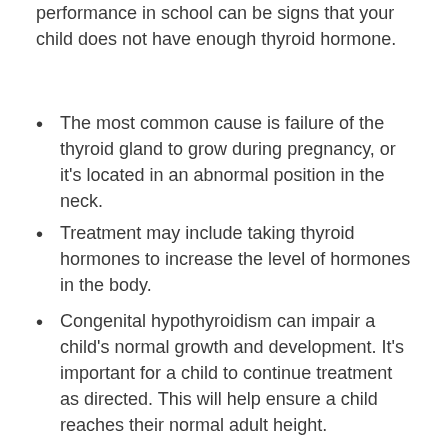performance in school can be signs that your child does not have enough thyroid hormone.
The most common cause is failure of the thyroid gland to grow during pregnancy, or it's located in an abnormal position in the neck.
Treatment may include taking thyroid hormones to increase the level of hormones in the body.
Congenital hypothyroidism can impair a child's normal growth and development. It's important for a child to continue treatment as directed. This will help ensure a child reaches their normal adult height.